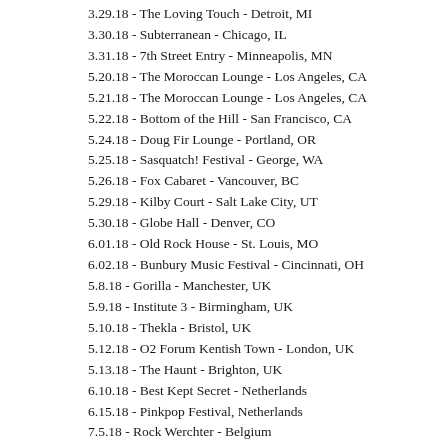3.29.18 - The Loving Touch - Detroit, MI
3.30.18 - Subterranean - Chicago, IL
3.31.18 - 7th Street Entry - Minneapolis, MN
5.20.18 - The Moroccan Lounge - Los Angeles, CA
5.21.18 - The Moroccan Lounge - Los Angeles, CA
5.22.18 - Bottom of the Hill - San Francisco, CA
5.24.18 - Doug Fir Lounge - Portland, OR
5.25.18 - Sasquatch! Festival - George, WA
5.26.18 - Fox Cabaret - Vancouver, BC
5.29.18 - Kilby Court - Salt Lake City, UT
5.30.18 - Globe Hall - Denver, CO
6.01.18 - Old Rock House - St. Louis, MO
6.02.18 - Bunbury Music Festival - Cincinnati, OH
5.8.18 - Gorilla - Manchester, UK
5.9.18 - Institute 3 - Birmingham, UK
5.10.18 - Thekla - Bristol, UK
5.12.18 - O2 Forum Kentish Town - London, UK
5.13.18 - The Haunt - Brighton, UK
6.10.18 - Best Kept Secret - Netherlands
6.15.18 - Pinkpop Festival, Netherlands
7.5.18 - Rock Werchter - Belgium
7.1.18 - OpenAir, St Gallen, Switzerland
7.12.18 - Mad Cool Festival, Madrid, Spain
7.13.18 - Latitude Festival, Beccles, UK
7.15.18 - Citadel, London UK